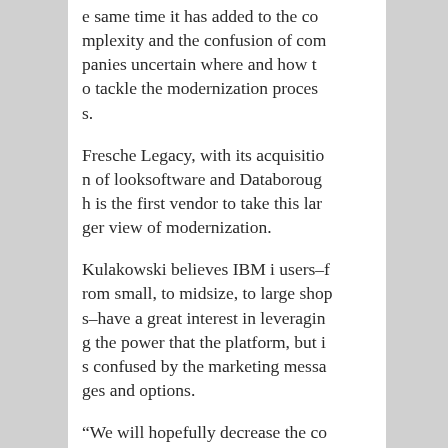e same time it has added to the complexity and the confusion of companies uncertain where and how to tackle the modernization process.
Fresche Legacy, with its acquisition of looksoftware and Databorough is the first vendor to take this larger view of modernization.
Kulakowski believes IBM i users–from small, to midsize, to large shops–have a great interest in leveraging the power that the platform, but is confused by the marketing messages and options.
“We will hopefully decrease the confusion on where to start a modernization project,” Kulakowski says. “Companies are asking, ‘Should I modernize my database, my program logic, my user interface, and whi